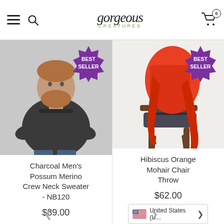gorgeous CREATURES — navigation header with hamburger menu, search, logo, and cart
[Figure (photo): Man with beard wearing dark charcoal crew neck sweater, grey background, with purple 'BEST SELLER' badge]
[Figure (photo): Orange/red mohair throw draped over a dark wooden armchair, white background, with purple 'BEST SELLER' badge]
Charcoal Men's Possum Merino Crew Neck Sweater - NB120
$89.00
Hibiscus Orange Mohair Chair Throw
$62.00
United States (U...